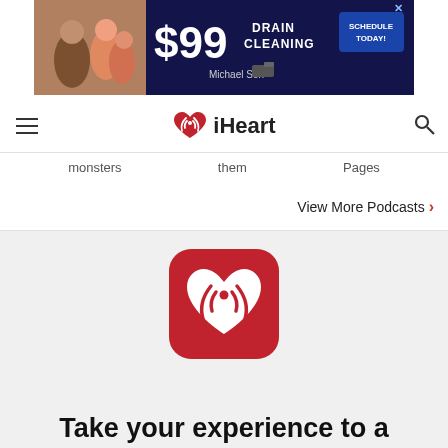[Figure (screenshot): Advertisement banner for Michael & Son drain cleaning service: $99 drain cleaning, Schedule Today!]
[Figure (logo): iHeart radio navigation bar with hamburger menu, iHeart logo (red heart with radio wave icon and iHeart text), and search icon]
monsters   them   Pages
View More Podcasts >
[Figure (logo): iHeart app icon: red rounded square with white heart and radio wave symbol]
Take your experience to a